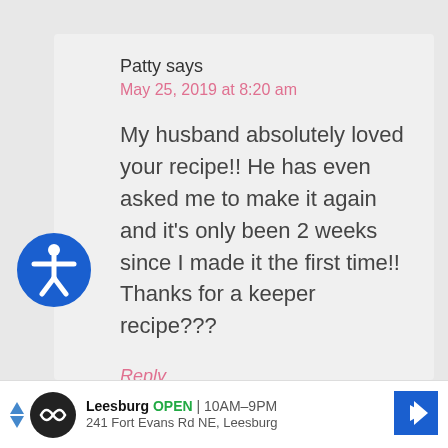Patty says
May 25, 2019 at 8:20 am
My husband absolutely loved your recipe!! He has even asked me to make it again and it’s only been 2 weeks since I made it the first time!! Thanks for a keeper recipe???
Reply
[Figure (logo): Accessibility icon - blue circle with white person figure in center]
[Figure (infographic): Advertisement bar: Leesburg OPEN 10AM-9PM, 241 Fort Evans Rd NE, Leesburg with a circular logo and blue navigation arrow]